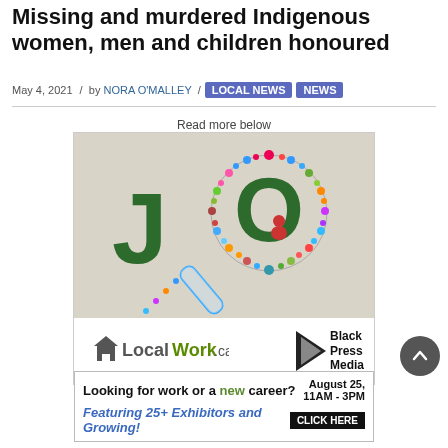Missing and murdered Indigenous women, men and children honoured
May 4, 2021 / by NORA O'MALLEY / LOCAL NEWS NEWS
[Figure (illustration): LocalWork.ca job search advertisement with colorful 'JO' magnifying glass graphic on beige background, with LocalWork.ca and Black Press Media logos below]
[Figure (infographic): Ad banner: 'Looking for work or a new career? August 25, 11AM - 3PM. Featuring 25+ Exhibitors and Growing! CLICK HERE']